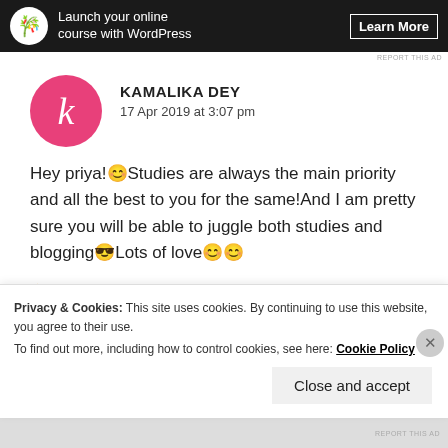[Figure (screenshot): Ad banner: dark background with icon, text 'Launch your online course with WordPress' and 'Learn More' button]
KAMALIKA DEY
17 Apr 2019 at 3:07 pm
Hey priya!😊Studies are always the main priority and all the best to you for the same!And I am pretty sure you will be able to juggle both studies and blogging😎Lots of love😊😊
★ Liked by 1 person
Privacy & Cookies: This site uses cookies. By continuing to use this website, you agree to their use.
To find out more, including how to control cookies, see here: Cookie Policy
Close and accept